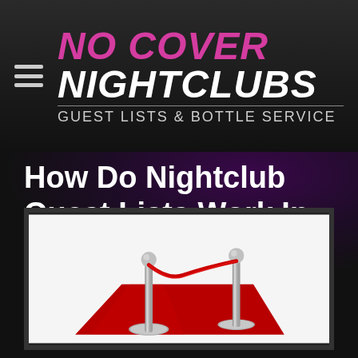NO COVER NIGHTCLUBS GUEST LISTS & BOTTLE SERVICE
How Do Nightclub Guest Lists Work In Vegas?
[Figure (photo): Red carpet with two chrome stanchion poles connected by a red velvet rope, on a white background]